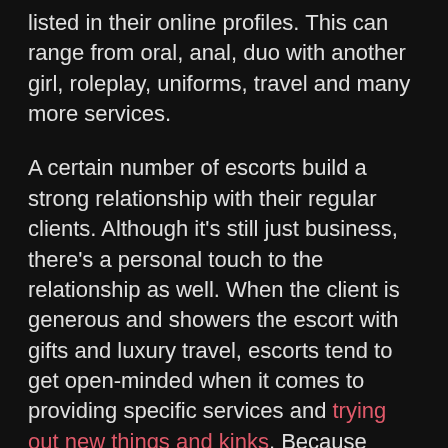listed in their online profiles. This can range from oral, anal, duo with another girl, roleplay, uniforms, travel and many more services.
A certain number of escorts build a strong relationship with their regular clients. Although it's still just business, there's a personal touch to the relationship as well. When the client is generous and showers the escort with gifts and luxury travel, escorts tend to get open-minded when it comes to providing specific services and trying out new things and kinks. Because West London is the part of the city with the wealthiest clients and the largest number of premium escorts, it's clear why they're considered the most open-minded out of all the escorts available in London.